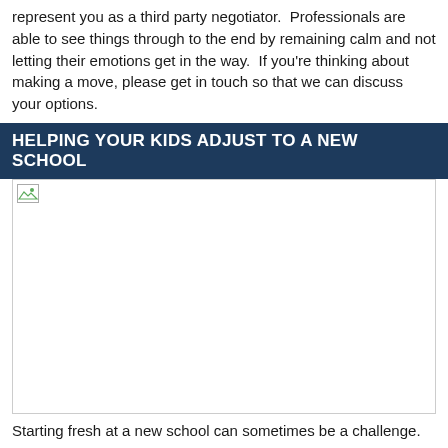represent you as a third party negotiator. Professionals are able to see things through to the end by remaining calm and not letting their emotions get in the way. If you're thinking about making a move, please get in touch so that we can discuss your options.
HELPING YOUR KIDS ADJUST TO A NEW SCHOOL
[Figure (photo): Placeholder image (broken/unloaded image with broken image icon in top-left corner)]
Starting fresh at a new school can sometimes be a challenge.